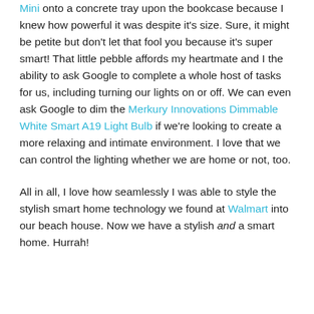Mini onto a concrete tray upon the bookcase because I knew how powerful it was despite it's size. Sure, it might be petite but don't let that fool you because it's super smart! That little pebble affords my heartmate and I the ability to ask Google to complete a whole host of tasks for us, including turning our lights on or off. We can even ask Google to dim the Merkury Innovations Dimmable White Smart A19 Light Bulb if we're looking to create a more relaxing and intimate environment. I love that we can control the lighting whether we are home or not, too.
All in all, I love how seamlessly I was able to style the stylish smart home technology we found at Walmart into our beach house. Now we have a stylish and a smart home. Hurrah!